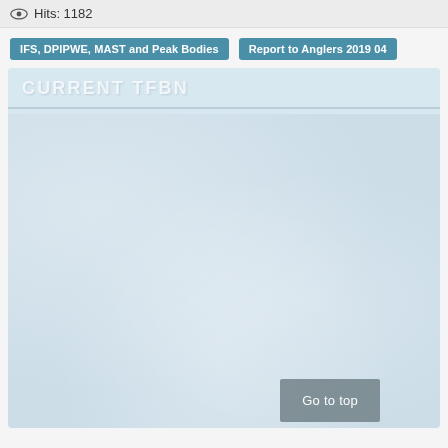Hits: 1182
IFS, DPIPWE, MAST and Peak Bodies
Report to Anglers 2019 04
CURRENT TFBN
[Figure (other): Light blue textured panel area — map or image content placeholder with 'CURRENT TFBN' header and a 'Go to top' button overlay]
Go to top